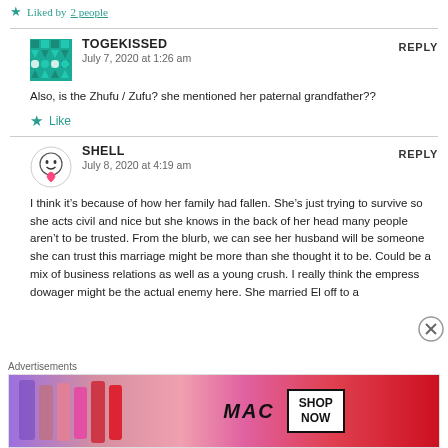Liked by 2 people
TOGEKISSED says:
July 7, 2020 at 1:26 am
REPLY
Also, is the Zhufu / Zufu? she mentioned her paternal grandfather??
Like
SHELL says:
July 8, 2020 at 4:19 am
REPLY
I think it’s because of how her family had fallen. She’s just trying to survive so she acts civil and nice but she knows in the back of her head many people aren’t to be trusted. From the blurb, we can see her husband will be someone she can trust this marriage might be more than she thought it to be. Could be a mix of business relations as well as a young crush. I really think the empress dowager might be the actual enemy here. She married El off to a
Advertisements
[Figure (photo): MAC cosmetics advertisement showing lipsticks in purple, pink, and red shades with MAC logo and SHOP NOW button]